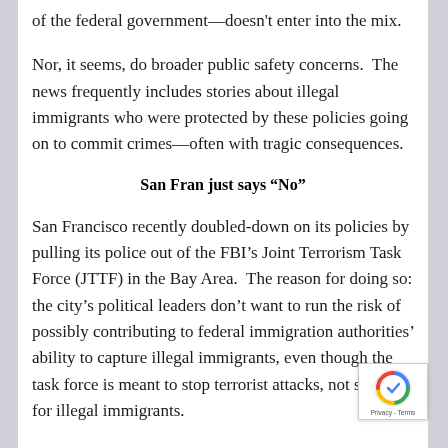of the federal government—doesn't enter into the mix.
Nor, it seems, do broader public safety concerns.  The news frequently includes stories about illegal immigrants who were protected by these policies going on to commit crimes—often with tragic consequences.
San Fran just says “No”
San Francisco recently doubled-down on its policies by pulling its police out of the FBI’s Joint Terrorism Task Force (JTTF) in the Bay Area.  The reason for doing so: the city’s political leaders don’t want to run the risk of possibly contributing to federal immigration authorities’ ability to capture illegal immigrants, even though the task force is meant to stop terrorist attacks, not search for illegal immigrants.